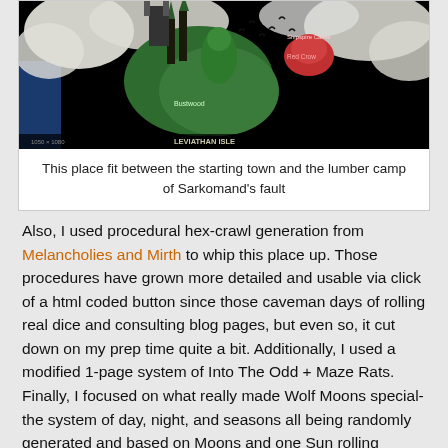[Figure (screenshot): A stylized game map screenshot showing a dark scene with white smoke/fog effects, green and teal colored landmasses, buildings, birds in the sky, and location labels including 'Bustwood', 'Red Crow', 'Shipspire Castle', and 'LEVIATHAN ISLE' at the bottom.]
This place fit between the starting town and the lumber camp of Sarkomand's fault
Also, I used procedural hex-crawl generation from Melancholies and Mirth to whip this place up. Those procedures have grown more detailed and usable via click of a html coded button since those caveman days of rolling real dice and consulting blog pages, but even so, it cut down on my prep time quite a bit. Additionally, I used a modified 1-page system of Into The Odd + Maze Rats.
Finally, I focused on what really made Wolf Moons special- the system of day, night, and seasons all being randomly generated and based on Moons and one Sun rolling around the sky as well as mythical magical explanations rather than scientific ones, and the societal implications of this. All in all I think it worked pretty well, and this game crumbled due to schedules and players falling apart rather than any glaring